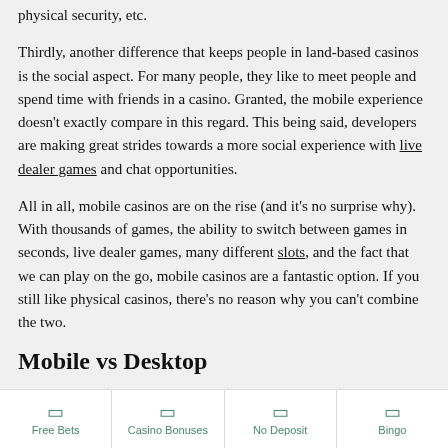physical security, etc.
Thirdly, another difference that keeps people in land-based casinos is the social aspect. For many people, they like to meet people and spend time with friends in a casino. Granted, the mobile experience doesn't exactly compare in this regard. This being said, developers are making great strides towards a more social experience with live dealer games and chat opportunities.
All in all, mobile casinos are on the rise (and it's no surprise why). With thousands of games, the ability to switch between games in seconds, live dealer games, many different slots, and the fact that we can play on the go, mobile casinos are a fantastic option. If you still like physical casinos, there's no reason why you can't combine the two.
Mobile vs Desktop
While on the note of comparisons, we understand that some players
Free Bets | Casino Bonuses | No Deposit | Bingo